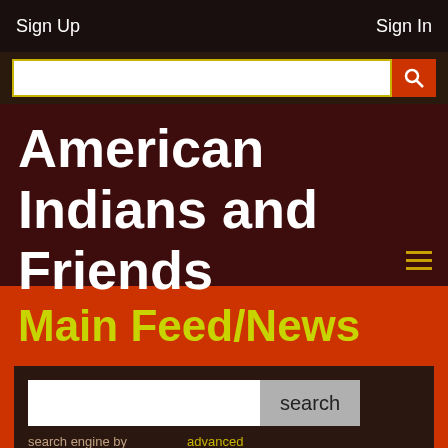Sign Up    Sign In
[Figure (screenshot): Search input bar with orange search button]
American Indians and Friends
Main Feed/News
[Figure (screenshot): Search widget with input field, search button, 'search engine by' label, and 'advanced' link]